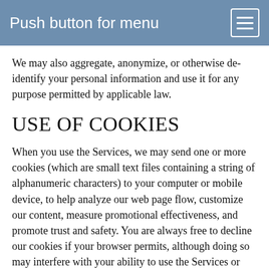Push button for menu
We may also aggregate, anonymize, or otherwise de-identify your personal information and use it for any purpose permitted by applicable law.
USE OF COOKIES
When you use the Services, we may send one or more cookies (which are small text files containing a string of alphanumeric characters) to your computer or mobile device, to help analyze our web page flow, customize our content, measure promotional effectiveness, and promote trust and safety. You are always free to decline our cookies if your browser permits, although doing so may interfere with your ability to use the Services or certain features of the Services. We may also use Google Analytics or a similar service that uses cookies to help us analyze how users use the Services.
We also allow certain third parties such as advertising networks, analytics providers, and widget providers to place